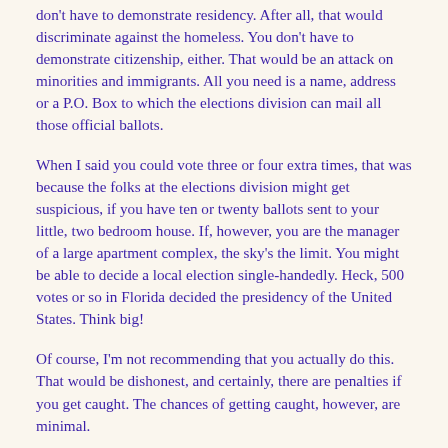don't have to demonstrate residency. After all, that would discriminate against the homeless. You don't have to demonstrate citizenship, either. That would be an attack on minorities and immigrants. All you need is a name, address or a P.O. Box to which the elections division can mail all those official ballots.
When I said you could vote three or four extra times, that was because the folks at the elections division might get suspicious, if you have ten or twenty ballots sent to your little, two bedroom house. If, however, you are the manager of a large apartment complex, the sky's the limit. You might be able to decide a local election single-handedly. Heck, 500 votes or so in Florida decided the presidency of the United States. Think big!
Of course, I'm not recommending that you actually do this. That would be dishonest, and certainly, there are penalties if you get caught. The chances of getting caught, however, are minimal.